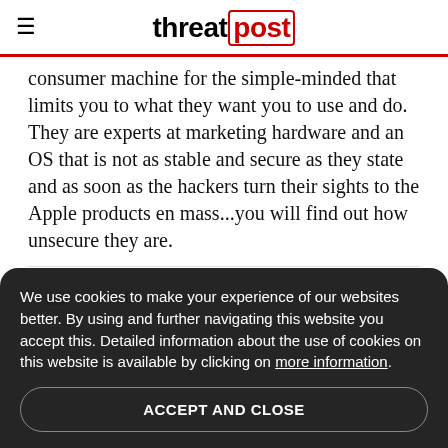threatpost
consumer machine for the simple-minded that limits you to what they want you to use and do. They are experts at marketing hardware and an OS that is not as stable and secure as they state and as soon as the hackers turn their sights to the Apple products en mass...you will find out how unsecure they are.
enoel on February 9, 2012
We use cookies to make your experience of our websites better. By using and further navigating this website you accept this. Detailed information about the use of cookies on this website is available by clicking on more information.
ACCEPT AND CLOSE
Apple doesn